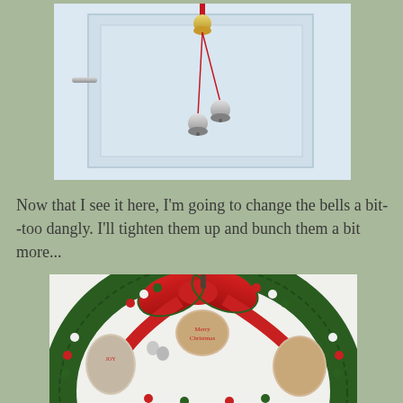[Figure (photo): Close-up photo of jingle bells hanging on a white door, showing the bells dangling on ribbons against the door surface with a door handle visible.]
Now that I see it here, I'm going to change the bells a bit--too dangly. I'll tighten them up and bunch them a bit more...
[Figure (photo): Photo of a decorated Christmas wreath with red ribbon bow, green pine branches, red and white and green ball ornaments, and vintage Santa and snowman ornament plaques hanging on a white door.]